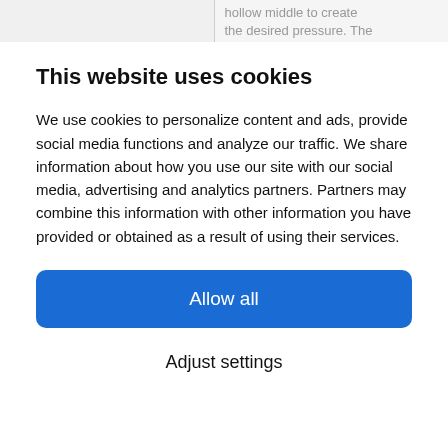hollow middle to create the desired pressure. The
This website uses cookies
We use cookies to personalize content and ads, provide social media functions and analyze our traffic. We share information about how you use our site with our social media, advertising and analytics partners. Partners may combine this information with other information you have provided or obtained as a result of using their services.
Allow all
Adjust settings